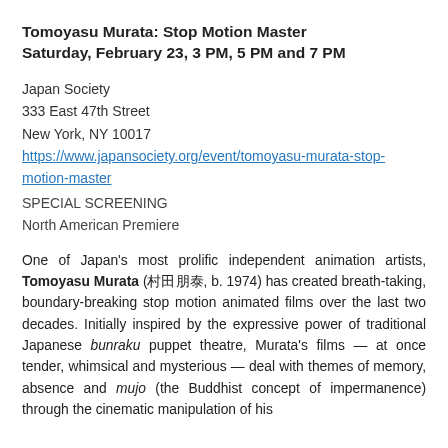Tomoyasu Murata: Stop Motion Master
Saturday, February 23, 3 PM, 5 PM and 7 PM
Japan Society
333 East 47th Street
New York, NY 10017
https://www.japansociety.org/event/tomoyasu-murata-stop-motion-master
SPECIAL SCREENING
North American Premiere
One of Japan's most prolific independent animation artists, Tomoyasu Murata (村田 朋泰, b. 1974) has created breath-taking, boundary-breaking stop motion animated films over the last two decades. Initially inspired by the expressive power of traditional Japanese bunraku puppet theatre, Murata's films — at once tender, whimsical and mysterious — deal with themes of memory, absence and mujo (the Buddhist concept of impermanence) through the cinematic manipulation of his...